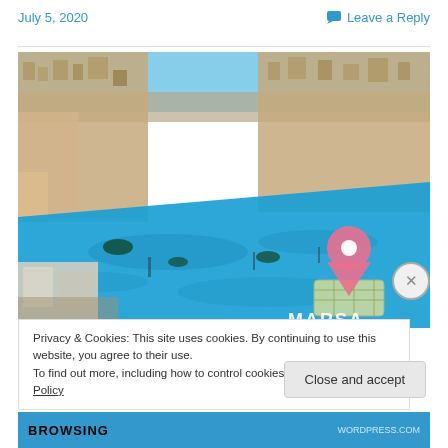July 5, 2020
💬 Leave a Reply
[Figure (photo): Aerial 3D view of a coastal city showing a large blue harbor/bay (Marsa) with dense urban buildings on both sides. A pink location pin marker with a map/grid platform is visible on the right side of the blue water area. The word MARSA is partially visible at the bottom right of the image.]
Privacy & Cookies: This site uses cookies. By continuing to use this website, you agree to their use.
To find out more, including how to control cookies, see here: Cookie Policy
Close and accept
BROWSING